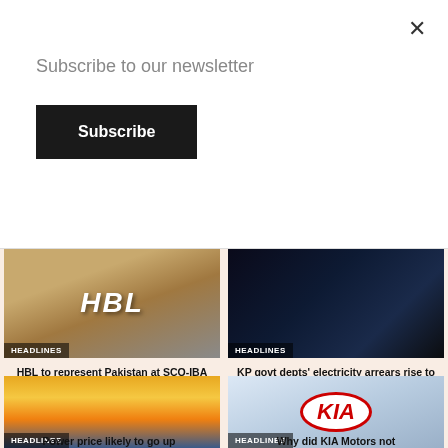Subscribe to our newsletter
Subscribe
×
[Figure (photo): HBL building exterior with logo, beige concrete facade with blue sky]
HEADLINES
HBL to represent Pakistan at SCO-IBA annual council meeting '22
[Figure (photo): Glowing light bulbs hanging against dark blue background]
HEADLINES
KP govt depts' electricity arrears rise to Rs2.14bn
[Figure (photo): High voltage electricity transmission towers at sunset with orange sky]
HEADLINES
Power price likely to go up
[Figure (photo): KIA Motors cars with KIA logo on light blue background]
HEADLINES
Why did KIA Motors not